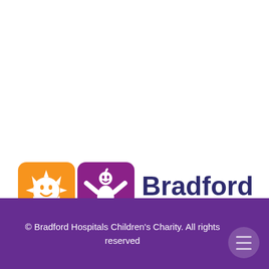[Figure (logo): Bradford Hospitals' Charity logo consisting of four coloured icon squares (orange sun, purple child, green and blue shapes) arranged in a 2x2 grid, with the text 'Bradford Hospitals'' in dark navy blue bold font beside them.]
© Bradford Hospitals Children's Charity. All rights reserved